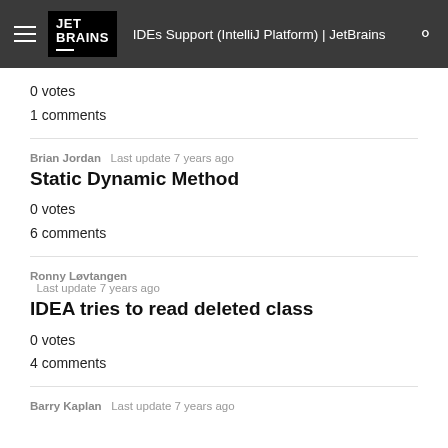JET BRAINS | IDEs Support (IntelliJ Platform) | JetBrains
0 votes
1 comments
Brian Jordan  Last update 7 years ago
Static Dynamic Method
0 votes
6 comments
Ronny Løvtangen  Last update 7 years ago
IDEA tries to read deleted class
0 votes
4 comments
Barry Kaplan  Last update 7 years ago